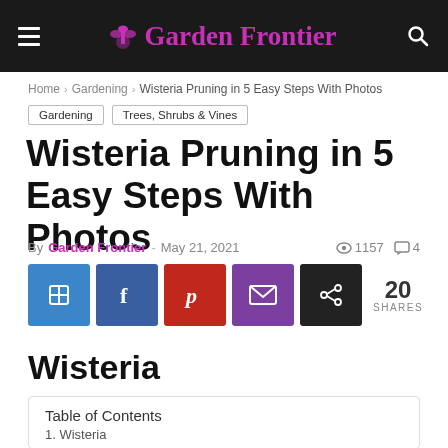Garden Frontier
Home › Gardening › Wisteria Pruning in 5 Easy Steps With Photos
Gardening   Trees, Shrubs & Vines
Wisteria Pruning in 5 Easy Steps With Photos
By Garden Frontier - May 21, 2021   1157  4
[Figure (infographic): Social share buttons: plain blue, Facebook, Pinterest, Email, Share. Shows 20 SHARES.]
Wisteria
Table of Contents
1. Wisteria...